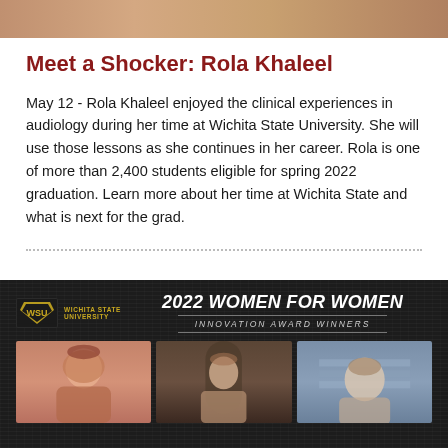[Figure (photo): Cropped top portion of a photo, likely a person, appearing at the very top of the page]
Meet a Shocker: Rola Khaleel
May 12 - Rola Khaleel enjoyed the clinical experiences in audiology during her time at Wichita State University. She will use those lessons as she continues in her career. Rola is one of more than 2,400 students eligible for spring 2022 graduation. Learn more about her time at Wichita State and what is next for the grad.
[Figure (photo): Banner image showing '2022 Women for Women Innovation Award Winners' with Wichita State University logo and three portrait photos of women at the bottom]